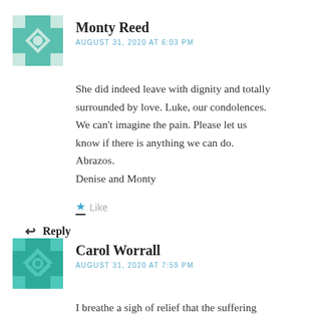[Figure (illustration): Geometric green/teal patterned avatar for Monty Reed]
Monty Reed
AUGUST 31, 2020 AT 6:03 PM
She did indeed leave with dignity and totally surrounded by love. Luke, our condolences. We can't imagine the pain. Please let us know if there is anything we can do. Abrazos.
Denise and Monty
★ Like
↩ Reply
[Figure (illustration): Geometric teal patterned avatar for Carol Worrall]
Carol Worrall
AUGUST 31, 2020 AT 7:59 PM
I breathe a sigh of relief that the suffering